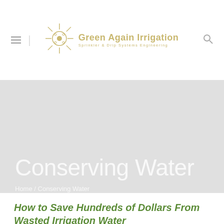Green Again Irrigation — Sprinkler & Drip Systems Engineering
Conserving Water
Home / Conserving Water
How to Save Hundreds of Dollars From Wasted Irrigation Water